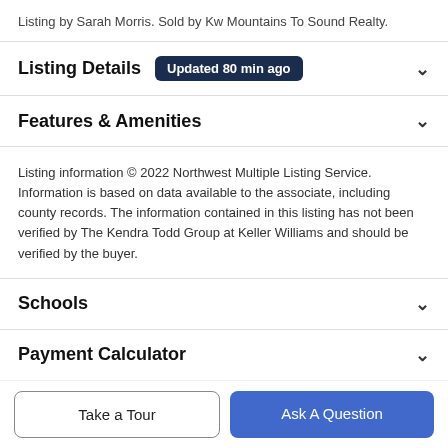Listing by Sarah Morris. Sold by Kw Mountains To Sound Realty.
Listing Details Updated 80 min ago
Features & Amenities
Listing information © 2022 Northwest Multiple Listing Service. Information is based on data available to the associate, including county records. The information contained in this listing has not been verified by The Kendra Todd Group at Keller Williams and should be verified by the buyer.
Schools
Payment Calculator
Take a Tour
Ask A Question